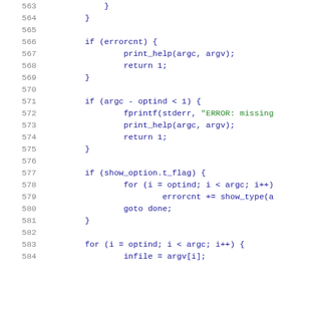Source code lines 563-584, C programming language
563:     }
564:         }
565:
566:         if (errorcnt) {
567:                 print_help(argc, argv);
568:                 return 1;
569:         }
570:
571:         if (argc - optind < 1) {
572:                 fprintf(stderr, "ERROR: missing
573:                 print_help(argc, argv);
574:                 return 1;
575:         }
576:
577:         if (show_option.t_flag) {
578:                 for (i = optind; i < argc; i++)
579:                         errorcnt += show_type(a
580:                 goto done;
581:         }
582:
583:         for (i = optind; i < argc; i++) {
584:                 infile = argv[i];